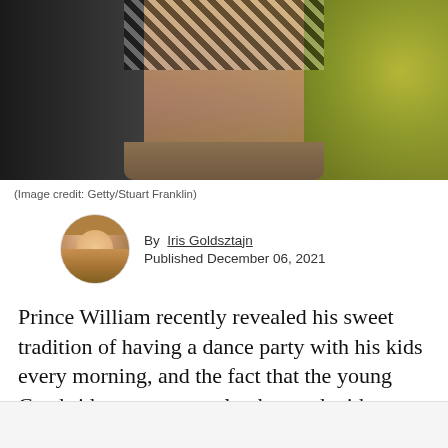[Figure (photo): Cropped photo showing a dancer's midriff with a patterned top and fur skirt, with yellow-green bokeh background]
(Image credit: Getty/Stuart Franklin)
By Iris Goldsztajn
Published December 06, 2021
Prince William recently revealed his sweet tradition of having a dance party with his kids every morning, and the fact that the young Cambridges are currently obsessed with Shakira's "Waka Waka."